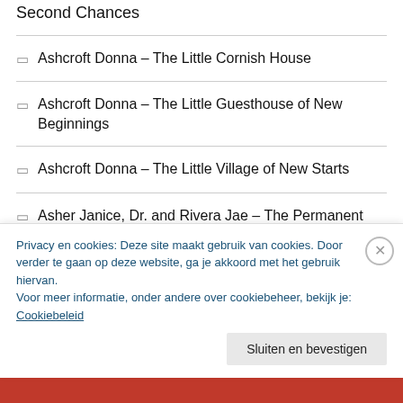Second Chances
Ashcroft Donna – The Little Cornish House
Ashcroft Donna – The Little Guesthouse of New Beginnings
Ashcroft Donna – The Little Village of New Starts
Asher Janice, Dr. and Rivera Jae – The Permanent Weight Loss Plan
Ashley-Smith J. – Ariadne, I Love You
Privacy en cookies: Deze site maakt gebruik van cookies. Door verder te gaan op deze website, ga je akkoord met het gebruik hiervan. Voor meer informatie, onder andere over cookiebeheer, bekijk je: Cookiebeleid
Sluiten en bevestigen